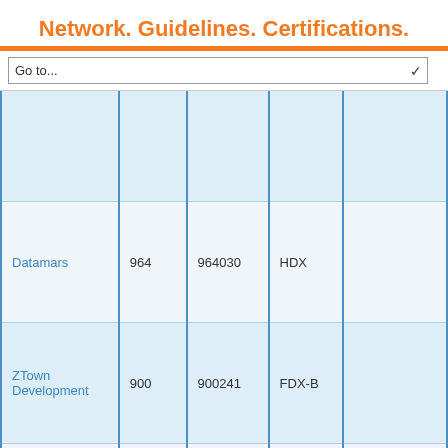Network. Guidelines. Certifications.
|  |  |  |  |  |
| --- | --- | --- | --- | --- |
|  |  |  |  |  |
| Datamars | 964 | 964030 | HDX |  |
| ZTown Development | 900 | 900241 | FDX-B |  |
| ZTown Development | 900 | 900242 | FDX-B |  |